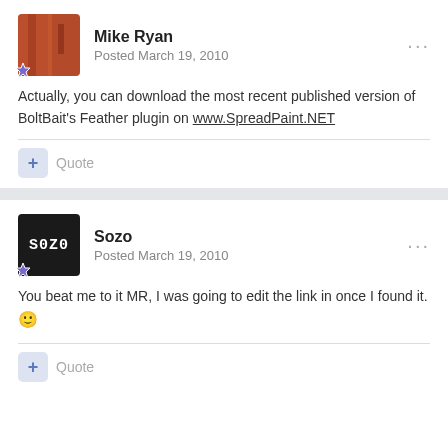Mike Ryan
Posted March 19, 2010
Actually, you can download the most recent published version of BoltBait's Feather plugin on www.SpreadPaint.NET
Quote
Sozo
Posted March 19, 2010
You beat me to it MR, I was going to edit the link in once I found it. 🙂
Quote